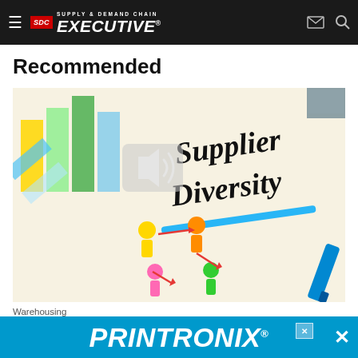Supply & Demand Chain Executive
Recommended
[Figure (illustration): Illustrated image showing 'Supplier Diversity' handwritten text with colorful cartoon figures of people connected by red arrows, bar charts, and a blue marker on a white background. A speaker/audio icon is overlaid in the center.]
Warehousing
L.I.N.K. ... Supply Chain:
[Figure (other): PRINTRONIX advertisement banner in blue background with white bold italic text reading PRINTRONIX with registered trademark symbol, and a close (X) button on the right.]